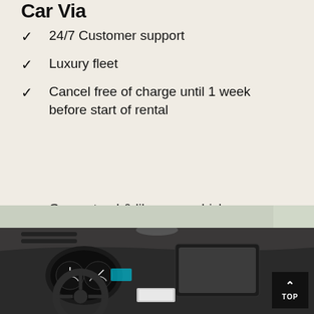Car Via
24/7 Customer support
Luxury fleet
Cancel free of charge until 1 week before start of rental
Guaranteed & like new vehicles
Comprehensive insurance included
Transparent rental conditions
[Figure (photo): Interior of a luxury car showing dashboard and steering wheel from the driver's perspective]